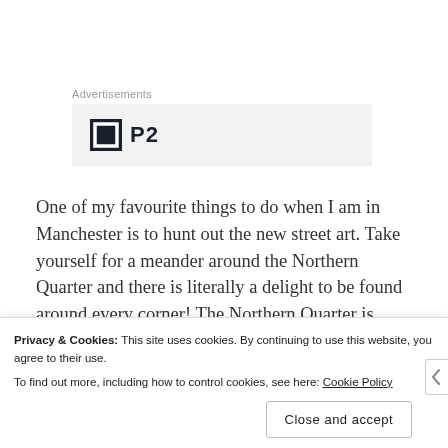Advertisements
[Figure (logo): P2 logo — dark square with white inner square and 'P2' text in bold dark font on light grey background advertisement banner]
One of my favourite things to do when I am in Manchester is to hunt out the new street art. Take yourself for a meander around the Northern Quarter and there is literally a delight to be found around every corner! The Northern Quarter is
Privacy & Cookies: This site uses cookies. By continuing to use this website, you agree to their use.
To find out more, including how to control cookies, see here: Cookie Policy
Close and accept